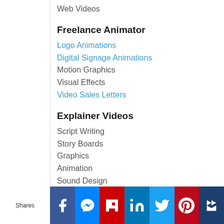Web Videos
Freelance Animator
Logo Animations
Digital Signage Animations
Motion Graphics
Visual Effects
Video Sales Letters
Explainer Videos
Script Writing
Story Boards
Graphics
Animation
Sound Design
Multiple Voice Over Options
[Figure (infographic): Social media share bar with Facebook, Messenger, Flipboard, LinkedIn, Twitter, Pinterest, and Crown/Native icons]